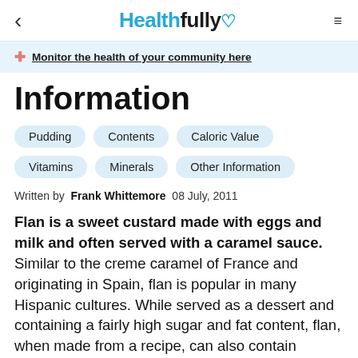< Healthfully ♡ ≡
Monitor the health of your community here
Information
Pudding
Contents
Caloric Value
Vitamins
Minerals
Other Information
Written by Frank Whittemore 08 July, 2011
Flan is a sweet custard made with eggs and milk and often served with a caramel sauce. Similar to the creme caramel of France and originating in Spain, flan is popular in many Hispanic cultures. While served as a dessert and containing a fairly high sugar and fat content, flan, when made from a recipe, can also contain